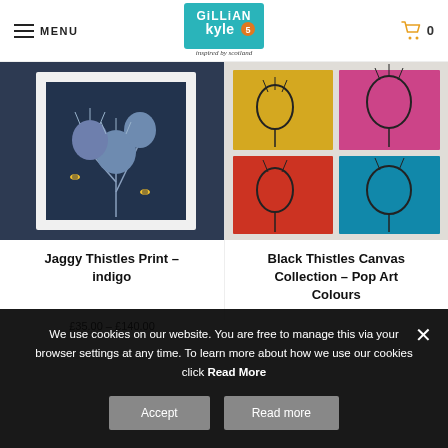MENU | Gillian Kyle – inspired by Scotland | Cart 0
[Figure (photo): Framed art print of thistles in indigo blue with bees, displayed against a dark blue wall with yellow flowers]
[Figure (photo): Four canvas panels showing black thistles in pop art colours: yellow, pink, red/orange, and teal/blue]
Jaggy Thistles Print – indigo
Black Thistles Canvas Collection – Pop Art Colours
We use cookies on our website. You are free to manage this via your browser settings at any time. To learn more about how we use our cookies click Read More
Accept
Read more